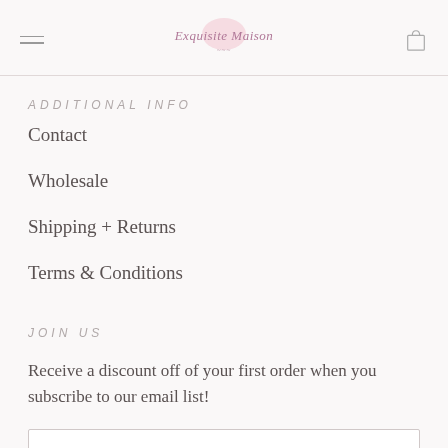Exquisite Maison — navigation header with hamburger menu and bag icon
ADDITIONAL INFO
Contact
Wholesale
Shipping + Returns
Terms & Conditions
JOIN US
Receive a discount off of your first order when you subscribe to our email list!
Enter your email address